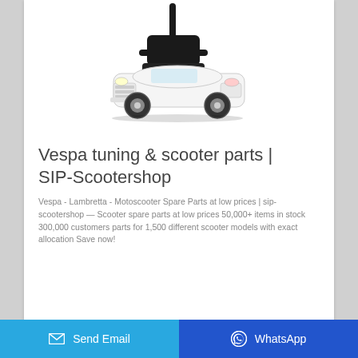[Figure (photo): Product photo of a white toy push car (ride-on car for children) with a black push handle/steering bar. The car resembles a luxury automobile with chrome-style grille and alloy wheels.]
Vespa tuning & scooter parts | SIP-Scootershop
Vespa - Lambretta - Motoscooter Spare Parts at low prices | sip-scootershop — Scooter spare parts at low prices 50,000+ items in stock 300,000 customers parts for 1,500 different scooter models with exact allocation Save now!
Send Email   WhatsApp